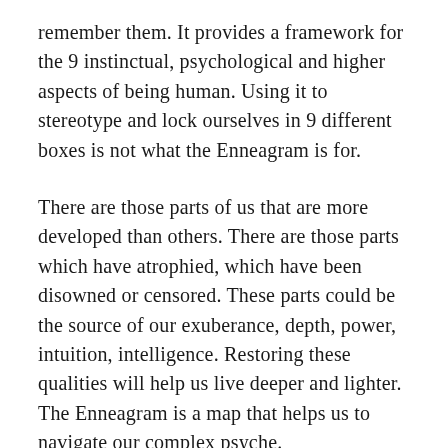remember them. It provides a framework for the 9 instinctual, psychological and higher aspects of being human. Using it to stereotype and lock ourselves in 9 different boxes is not what the Enneagram is for.
There are those parts of us that are more developed than others. There are those parts which have atrophied, which have been disowned or censored. These parts could be the source of our exuberance, depth, power, intuition, intelligence. Restoring these qualities will help us live deeper and lighter. The Enneagram is a map that helps us to navigate our complex psyche.